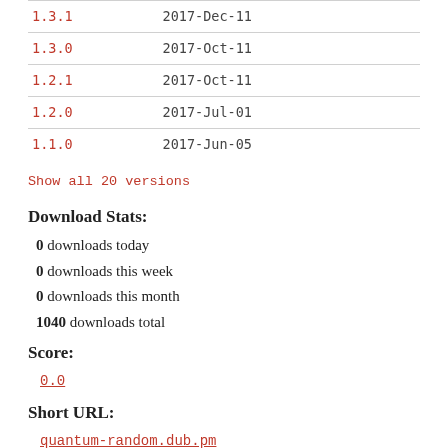| Version | Date |
| --- | --- |
| 1.3.1 | 2017-Dec-11 |
| 1.3.0 | 2017-Oct-11 |
| 1.2.1 | 2017-Oct-11 |
| 1.2.0 | 2017-Jul-01 |
| 1.1.0 | 2017-Jun-05 |
Show all 20 versions
Download Stats:
0 downloads today
0 downloads this week
0 downloads this month
1040 downloads total
Score:
0.0
Short URL:
quantum-random.dub.pm